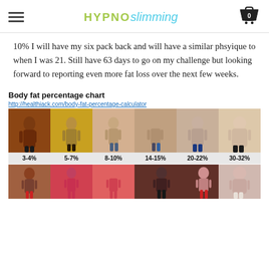HYPNO slimming
10% I will have my six pack back and will have a similar phsyique to when I was 21. Still have 63 days to go on my challenge but looking forward to reporting even more fat loss over the next few weeks.
Body fat percentage chart
http://healthiack.com/body-fat-percentage-calculator
[Figure (infographic): Body fat percentage chart showing male and female bodies at different body fat percentages. Male row shows 3-4%, 5-7%, 8-10%, 14-15%, 20-22%, 30-32%. Female row partially visible at bottom.]